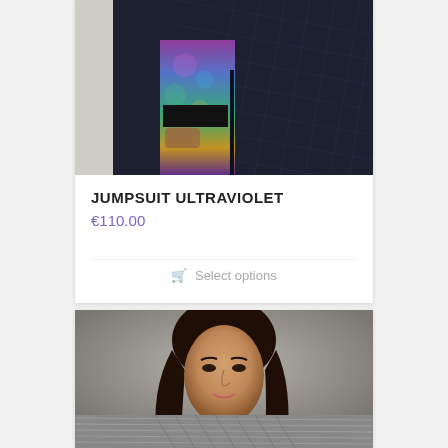[Figure (photo): Woman wearing a quilted dark navy jacket over a colorful ultraviolet patterned jumpsuit with a black belt, photographed against a white wall]
JUMPSUIT ULTRAVIOLET
€110.00
Select options
[Figure (photo): Woman with dark hair wearing a grey/silver patterned coat or scarf, photographed against a grey background]